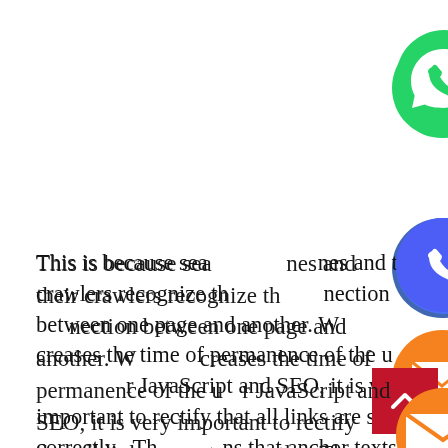[Figure (infographic): Social share icons column: WhatsApp (green), Phone/Viber (blue-purple), Email/Message (orange), LINE (green), Viber (purple), Close/X (green) buttons stacked vertically overlapping the text. Also a red back-to-top button at bottom right.]
This is because search engines and their crawlers recognize the connection between one page and another. Which increases the time of permanence of the user. JavaScript and SEO, it is very important to rectify that all links are set correctly . This means that anchor texts and HTML anchor tags must be used, which include the URL of the landing page in the href attribute. 3. Prevent Google Accidentally Indexing Your JavaScript This may be the most common of the three. Just as we already mentioned, Google cannot render the JavaScript in its entirety. As a result, many sites